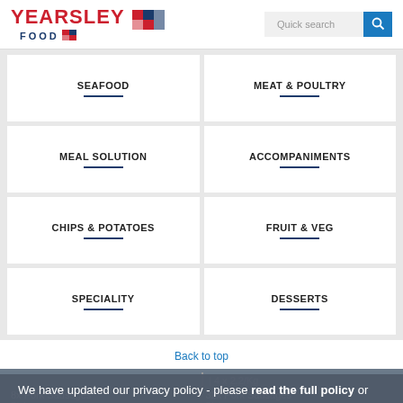[Figure (logo): Yearsley Food logo with red text and flag graphic]
Quick search
SEAFOOD
MEAT & POULTRY
MEAL SOLUTION
ACCOMPANIMENTS
CHIPS & POTATOES
FRUIT & VEG
SPECIALITY
DESSERTS
Back to top
4 x 2.2/Kg
8x Pork Sausages
32x Pork Sausages
Blakemans
Blakemans
10 x 1kg
2 x 5kg
We have updated our privacy policy - please read the full policy or simply accept these changes.